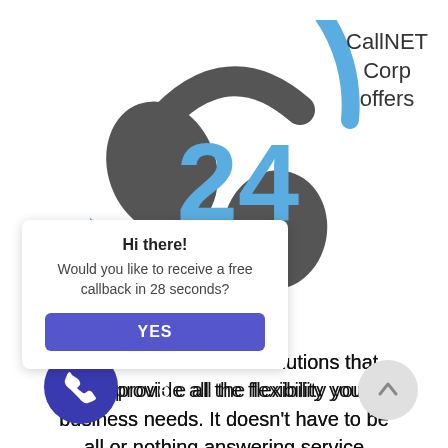[Figure (illustration): Headset graphic with a blue circular arc and '24' in blue text, representing 24/7 service, with a dark grey headset overlaid]
CallNET Corp offers
[Figure (screenshot): Chat popup widget: 'Hi there! Would you like to receive a free callback in 28 seconds?' with a blue YES button]
affordable call center solutions that can provide all the flexibility your business needs. It doesn't have to be all or nothing answering service with us. For example, if your existing office receptionist is able to manage incoming calls most of the time, but